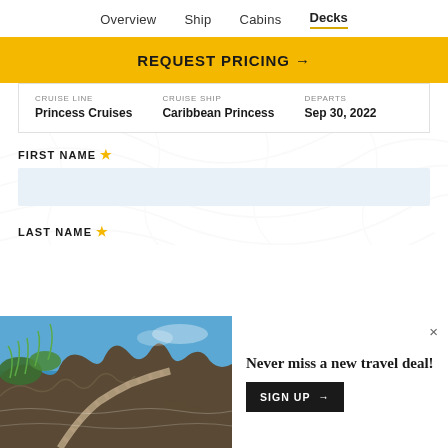Overview  Ship  Cabins  Decks
REQUEST PRICING →
| CRUISE LINE | CRUISE SHIP | DEPARTS |
| --- | --- | --- |
| Princess Cruises | Caribbean Princess | Sep 30, 2022 |
FIRST NAME *
LAST NAME *
[Figure (photo): Coastal Mediterranean cliffside path with blue sea, rocks and tropical plants]
Never miss a new travel deal!
SIGN UP →